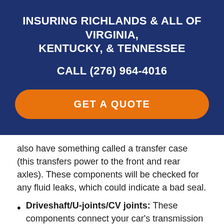INSURING RICHLANDS & ALL OF VIRGINIA, KENTUCKY, & TENNESSEE
CALL (276) 964-4016
GET A QUOTE
also have something called a transfer case (this transfers power to the front and rear axles). These components will be checked for any fluid leaks, which could indicate a bad seal.
Driveshaft/U-joints/CV joints: These components connect your car's transmission to the differential. The parts of your vehicle will vary depending on whether it's front-wheel drive